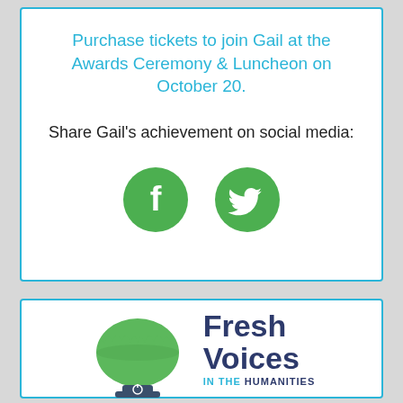Purchase tickets to join Gail at the Awards Ceremony & Luncheon on October 20.
Share Gail's achievement on social media:
[Figure (logo): Facebook and Twitter social media icons as green circles]
[Figure (logo): Fresh Voices in the Humanities logo with green bowl icon and text]